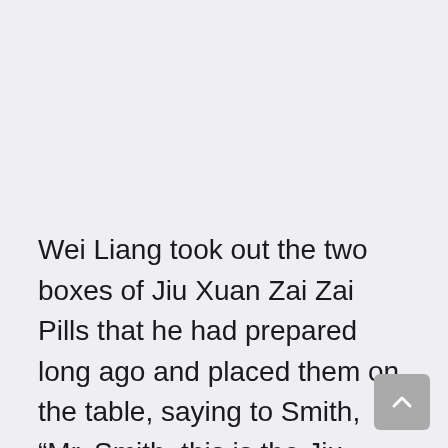Wei Liang took out the two boxes of Jiu Xuan Zai Zai Pills that he had prepared long ago and placed them on the table, saying to Smith, “Mr. Smith, this is the Jiu Xuan Zai Zai Pills that we have just developed, this medicine is specially developed for cancer, it has very good therapeutic